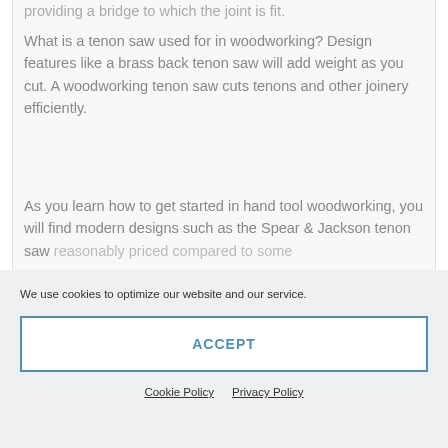providing a bridge to which the joint is fit.
What is a tenon saw used for in woodworking? Design features like a brass back tenon saw will add weight as you cut. A woodworking tenon saw cuts tenons and other joinery efficiently.
As you learn how to get started in hand tool woodworking, you will find modern designs such as the Spear & Jackson tenon saw reasonably priced compared to some
We use cookies to optimize our website and our service.
ACCEPT
Cookie Policy   Privacy Policy